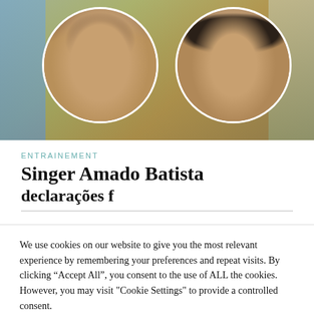[Figure (photo): Two circular portrait photos of men against a blurred outdoor background. Left portrait: a middle-aged man with short dark hair, no hat, looking sideways. Right portrait: an older heavier-set man wearing a dark baseball cap, looking forward.]
ENTRAINEMENT
Singer Amado Batista
We use cookies on our website to give you the most relevant experience by remembering your preferences and repeat visits. By clicking “Accept All”, you consent to the use of ALL the cookies. However, you may visit "Cookie Settings" to provide a controlled consent.
Cookie Settings | Accept All